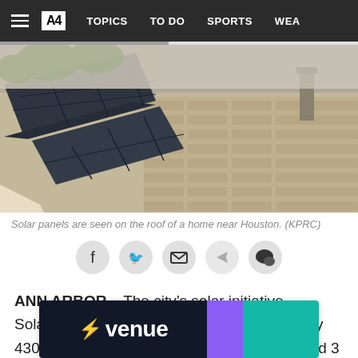≡  A4   TOPICS   TO DO   SPORTS   WEA
[Figure (photo): Solar panels seen on the roof of a house near Houston; shingles visible.]
Solar panels are seen on the roof of a home near Houston. (KPRC)
[Figure (infographic): Social sharing icons row: Facebook (f), Twitter (bird), Email (envelope), Share (arrow), Comments (chat bubble)]
ANN ARBOR – The city's solar initiative, Solarize Ann Arbor, now serves approximately 430 homes in the area and recently surpassed 3 megawatts or new solar, according
[Figure (logo): Venue app advertisement banner with lightning bolt logo in dark background, purple gradient and teal sections]